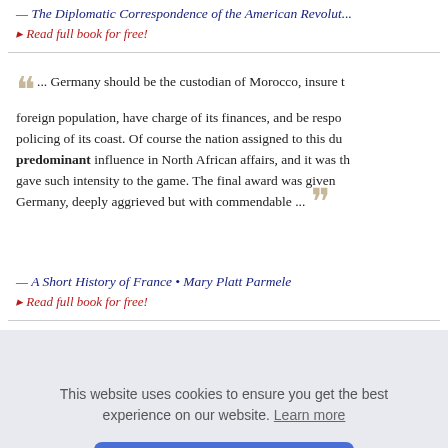— The Diplomatic Correspondence of the American Revolut...
▸ Read full book for free!
... Germany should be the custodian of Morocco, insure the foreign population, have charge of its finances, and be responsible for the policing of its coast. Of course the nation assigned to this duty had predominant influence in North African affairs, and it was this that gave such intensity to the game. The final award was given against Germany, deeply aggrieved but with commendable ...
— A Short History of France • Mary Platt Parmele
▸ Read full book for free!
This website uses cookies to ensure you get the best experience on our website. Learn more
Got it!
e theatre w... ill not desp... s! there is ... an all his g... gs, of our f... h, high-bo...
— The Disowned, Complete • Edward Bulwer-Lytton